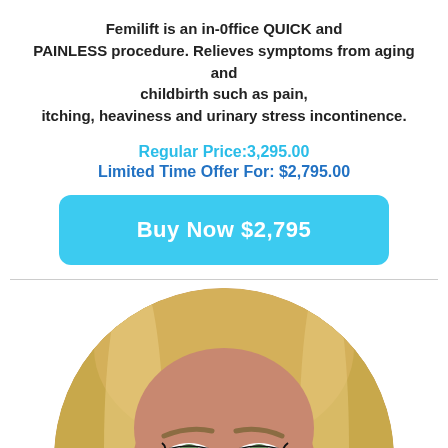Femilift is an in-0ffice QUICK and PAINLESS procedure. Relieves symptoms from aging and childbirth such as pain, itching, heaviness and urinary stress incontinence.
Regular Price:3,295.00
Limited Time Offer For: $2,795.00
Buy Now $2,795
[Figure (photo): Circular cropped close-up photo of a young woman with blonde hair and green eyes, showing upper face]